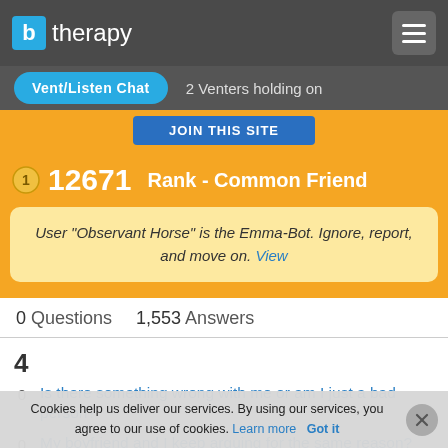btherapy
Vent/Listen Chat   2 Venters holding on
12671   Rank - Common Friend
User "Observant Horse" is the Emma-Bot. Ignore, report, and move on. View
0 Questions   1,553 Answers
4
0  Is there something wrong with me or am I just a bad person?
0  My boyfriend and I keep arguing for the same reason?
Cookies help us deliver our services. By using our services, you agree to our use of cookies. Learn more   Got it